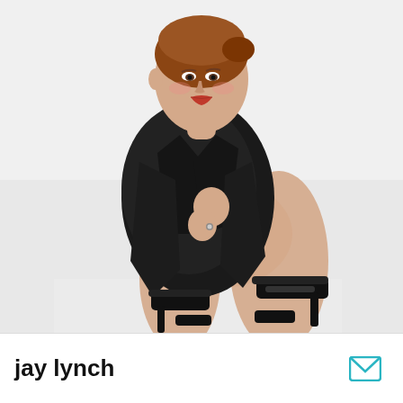[Figure (photo): A young woman with auburn hair pulled back, wearing a black patterned blazer over a black bodysuit, crouching on a white studio floor wearing black high-heeled sandals, posing for a professional fashion/model photo against a white background.]
jay lynch